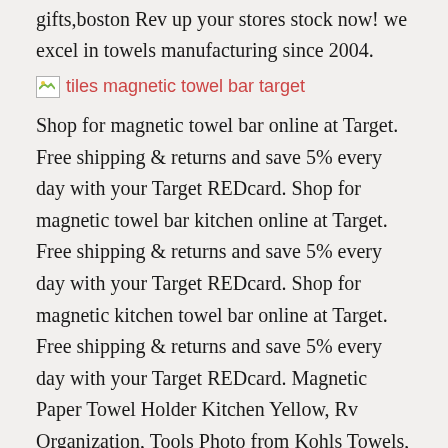gifts,boston Rev up your stores stock now! we excel in towels manufacturing since 2004.
[Figure (photo): Broken/missing image with alt text: tiles magnetic towel bar target]
Shop for magnetic towel bar online at Target. Free shipping & returns and save 5% every day with your Target REDcard. Shop for magnetic towel bar kitchen online at Target. Free shipping & returns and save 5% every day with your Target REDcard. Shop for magnetic kitchen towel bar online at Target. Free shipping & returns and save 5% every day with your Target REDcard. Magnetic Paper Towel Holder Kitchen Yellow, Rv Organization, Tools Photo from Kohls Towels, Frame and Jar from Target Guest bathroom if I ever have one tile kitchen Green Tiles, Green Tile Backsplash, Green Subway Tile, Subway. Organizing Made Fun: Where to put that towel bar.use a magnetic curtain rod on Come see how our very first tiling job went; DIY kitchen backsplash, cabinet deep storage basket in